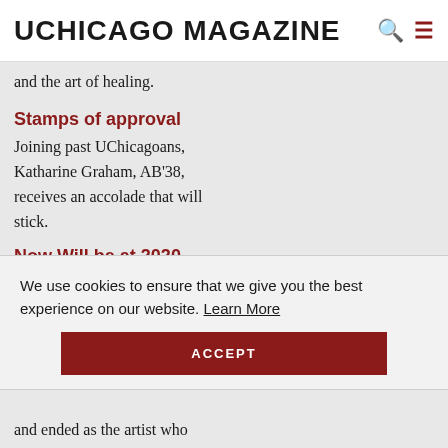UCHICAGO MAGAZINE
and the art of healing.
Stamps of approval
Joining past UChicagoans, Katharine Graham, AB'38, receives an accolade that will stick.
Now Will be at 2020
We use cookies to ensure that we give you the best experience on our website. Learn More
ACCEPT
and ended as the artist who